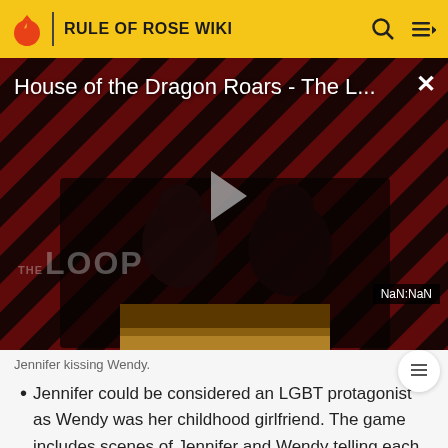RULE OF ROSE WIKI
[Figure (screenshot): Video player overlay showing 'House of the Dragon Roars - The L...' with diagonal red/black striped background, a play button in the center, 'THE LOOP' text watermark, NaN:NaN time badge, and a thumbnail image strip at the bottom. An X close button is in the top right.]
Jennifer kissing Wendy.
Jennifer could be considered an LGBT protagonist as Wendy was her childhood girlfriend. The game includes scenes of Jennifer and Wendy telling each